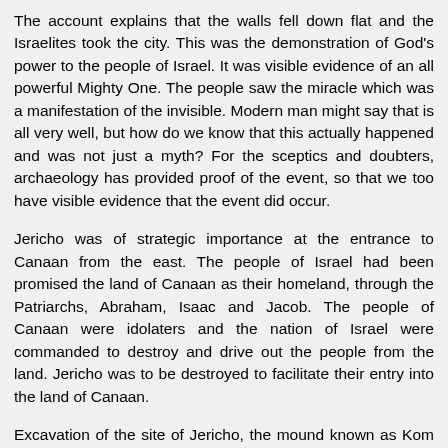The account explains that the walls fell down flat and the Israelites took the city. This was the demonstration of God's power to the people of Israel. It was visible evidence of an all powerful Mighty One. The people saw the miracle which was a manifestation of the invisible. Modern man might say that is all very well, but how do we know that this actually happened and was not just a myth? For the sceptics and doubters, archaeology has provided proof of the event, so that we too have visible evidence that the event did occur.
Jericho was of strategic importance at the entrance to Canaan from the east. The people of Israel had been promised the land of Canaan as their homeland, through the Patriarchs, Abraham, Isaac and Jacob. The people of Canaan were idolaters and the nation of Israel were commanded to destroy and drive out the people from the land. Jericho was to be destroyed to facilitate their entry into the land of Canaan.
Excavation of the site of Jericho, the mound known as Kom el-Sultan, commenced in 1907-1909. The work of John Garstang 1930-1936 particularly gave evidence of the occupation of this ancient city. The city was founded about 4000BC and a series of successive cities had stood on that site.
It was estimated that the city taken by Joshua was constructed about 1500BC. A massive six-foot thick wall had been erected on the edge of the mound. An inner wall was separated from it by about twelve feet and was about twelve feet thick. The city was